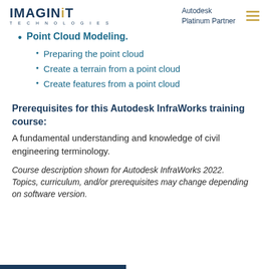IMAGINiT TECHNOLOGIES | Autodesk Platinum Partner
Point Cloud Modeling.
Preparing the point cloud
Create a terrain from a point cloud
Create features from a point cloud
Prerequisites for this Autodesk InfraWorks training course:
A fundamental understanding and knowledge of civil engineering terminology.
Course description shown for Autodesk InfraWorks 2022.
Topics, curriculum, and/or prerequisites may change depending on software version.